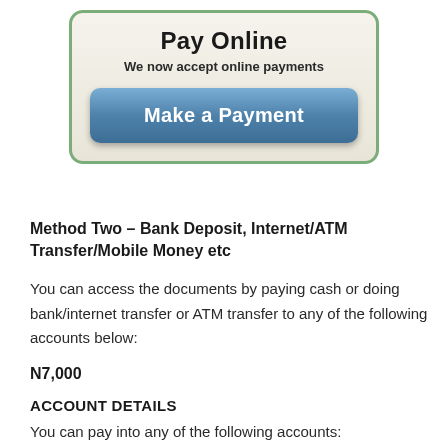[Figure (other): Pay Online box with green border, beige background, title 'Pay Online', subtitle 'We now accept online payments', and a blue 'Make a Payment' button]
Method Two – Bank Deposit, Internet/ATM Transfer/Mobile Money etc
You can access the documents by paying cash or doing bank/internet transfer or ATM transfer to any of the following accounts below:
N7,000
ACCOUNT DETAILS
You can pay into any of the following accounts: